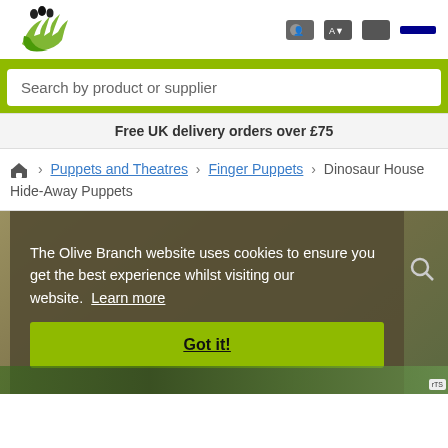Olive Branch website header with logo and navigation icons
Search by product or supplier
Free UK delivery orders over £75
🏠 › Puppets and Theatres › Finger Puppets › Dinosaur House Hide-Away Puppets
The Olive Branch website uses cookies to ensure you get the best experience whilst visiting our website. Learn more
Got it!